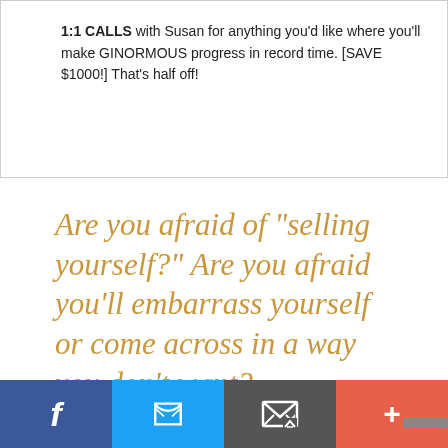1:1 CALLS with Susan for anything you'd like where you'll make GINORMOUS progress in record time. [SAVE $1000!] That's half off!
Are you afraid of "selling yourself?" Are you afraid you'll embarrass yourself or come across in a way you don't want?
[Figure (other): Social sharing bar with four buttons: Facebook (blue), Twitter (light blue), Email/envelope (dark gray), and Plus/more (red-orange)]